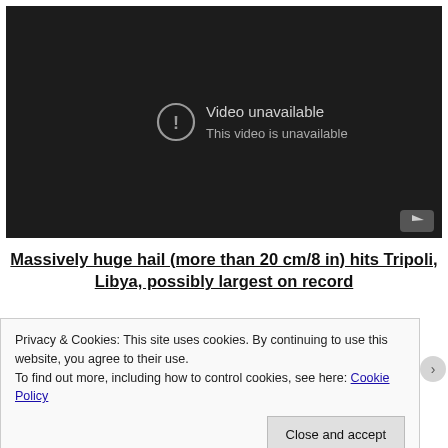[Figure (screenshot): YouTube video embed showing 'Video unavailable - This video is unavailable' message on dark background with YouTube logo icon in bottom right corner]
Massively huge hail (more than 20 cm/8 in) hits Tripoli, Libya, possibly largest on record
Privacy & Cookies: This site uses cookies. By continuing to use this website, you agree to their use.
To find out more, including how to control cookies, see here: Cookie Policy
Close and accept